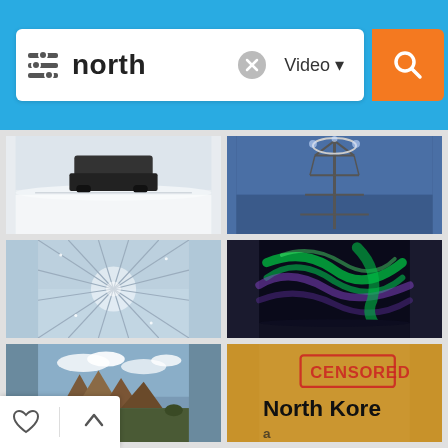[Figure (screenshot): A video search interface showing a search bar with the query 'north' and a grid of video thumbnails including snowy landscape with vehicle, radio tower, frost-covered trees, northern lights aurora borealis, rocky mountain landscape, and a North Korea censored stamp image. The interface has a blue header bar with an orange search button.]